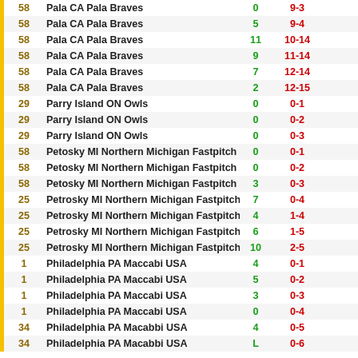| # | Team | Score | Record |  |
| --- | --- | --- | --- | --- |
| 58 | Pala CA Pala Braves | 0 | 9-3 |  |
| 58 | Pala CA Pala Braves | 5 | 9-4 |  |
| 58 | Pala CA Pala Braves | 11 | 10-14 |  |
| 58 | Pala CA Pala Braves | 9 | 11-14 |  |
| 58 | Pala CA Pala Braves | 7 | 12-14 |  |
| 58 | Pala CA Pala Braves | 2 | 12-15 |  |
| 29 | Parry Island ON Owls | 0 | 0-1 |  |
| 29 | Parry Island ON Owls | 0 | 0-2 |  |
| 29 | Parry Island ON Owls | 0 | 0-3 |  |
| 58 | Petosky MI Northern Michigan Fastpitch | 0 | 0-1 |  |
| 58 | Petosky MI Northern Michigan Fastpitch | 0 | 0-2 |  |
| 58 | Petosky MI Northern Michigan Fastpitch | 3 | 0-3 |  |
| 25 | Petrosky MI Northern Michigan Fastpitch | 7 | 0-4 |  |
| 25 | Petrosky MI Northern Michigan Fastpitch | 4 | 1-4 |  |
| 25 | Petrosky MI Northern Michigan Fastpitch | 6 | 1-5 |  |
| 25 | Petrosky MI Northern Michigan Fastpitch | 10 | 2-5 |  |
| 1 | Philadelphia PA Maccabi USA | 4 | 0-1 |  |
| 1 | Philadelphia PA Maccabi USA | 5 | 0-2 |  |
| 1 | Philadelphia PA Maccabi USA | 3 | 0-3 |  |
| 1 | Philadelphia PA Maccabi USA | 0 | 0-4 |  |
| 34 | Philadelphia PA Macabbi USA | 4 | 0-5 |  |
| 34 | Philadelphia PA Macabbi USA | L | 0-6 |  |